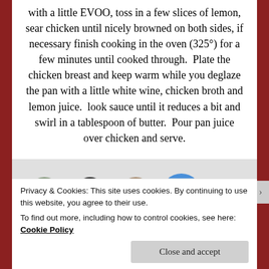with a little EVOO, toss in a few slices of lemon, sear chicken until nicely browned on both sides, if necessary finish cooking in the oven (325°) for a few minutes until cooked through. Plate the chicken breast and keep warm while you deglaze the pan with a little white wine, chicken broth and lemon juice. look sauce until it reduces a bit and swirl in a tablespoon of butter. Pour pan juice over chicken and serve.
[Figure (screenshot): Social media follower avatars: three circular profile photos (woman, person with dark hair, man) and a blue circle with a plus sign, shown on a gray background strip]
Privacy & Cookies: This site uses cookies. By continuing to use this website, you agree to their use.
To find out more, including how to control cookies, see here: Cookie Policy
Close and accept